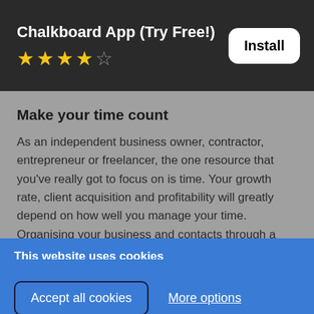Chalkboard App (Try Free!)
[Figure (other): 4.5 star rating (4 filled stars and 1 half/empty star)]
Install
Make your time count
As an independent business owner, contractor, entrepreneur or freelancer, the one resource that you've really got to focus on is time. Your growth rate, client acquisition and profitability will greatly depend on how well you manage your time. Organising your business and contacts through a
This website uses cookies
We use them to optimise site functionality and give you the best possible experience.
Accept all cookies
More options